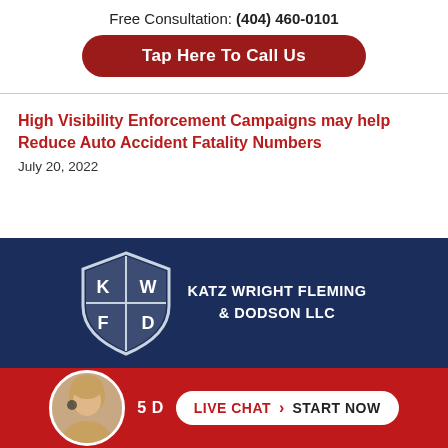Free Consultation: (404) 460-0101
Tap Here To Call Us
High Visibility Enforcement Campaigns may help Reduce Auto Accident Fatality Numbers
July 20, 2022
[Figure (logo): Katz Wright Fleming & Dodson LLC shield logo with dark blue background and firm name in white text]
LIVE CHAT  START NOW